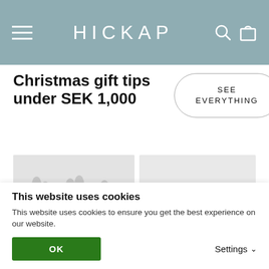HICKAP
Christmas gift tips under SEK 1,000
SEE EVERYTHING
[Figure (photo): Two product images side by side: left shows makeup brushes arranged on light grey background, right shows a plain light grey background product image.]
This website uses cookies
This website uses cookies to ensure you get the best experience on our website.
OK
Settings